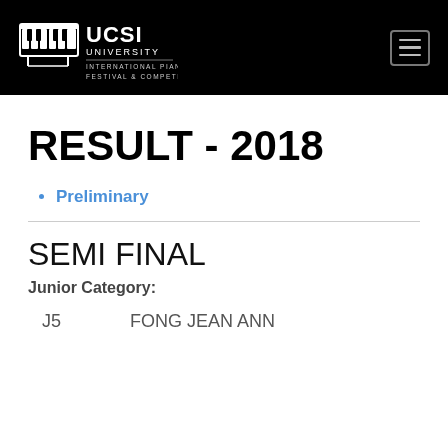[Figure (logo): UCSI University International Piano Festival & Competition logo with piano graphic on black background]
RESULT - 2018
Preliminary
SEMI FINAL
Junior Category:
J5    FONG JEAN ANN